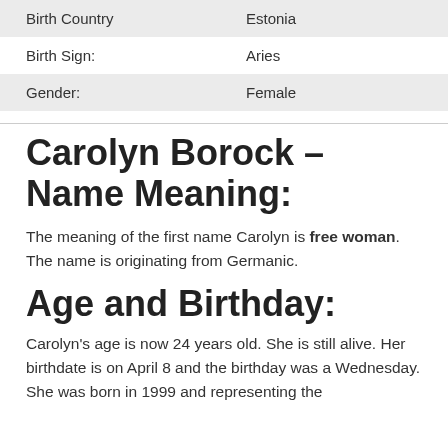| Birth Country | Estonia |
| Birth Sign: | Aries |
| Gender: | Female |
Carolyn Borock – Name Meaning:
The meaning of the first name Carolyn is free woman. The name is originating from Germanic.
Age and Birthday:
Carolyn's age is now 24 years old. She is still alive. Her birthdate is on April 8 and the birthday was a Wednesday. She was born in 1999 and representing the